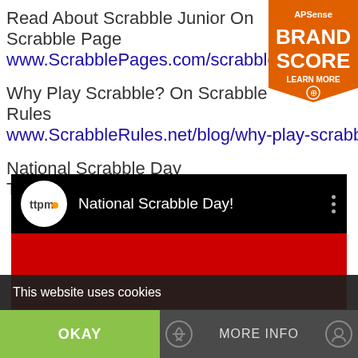Read About Scrabble Junior On Scrabble Pages
www.ScrabblePages.com/scrabble/junior/
Why Play Scrabble? On Scrabble Rules
www.ScrabbleRules.net/blog/why-play-scrabble
National Scrabble Day
TTPM Toy Reviews
[Figure (screenshot): YouTube video thumbnail showing TTPM logo and title 'National Scrabble Day!' with a red background and the word NATIONAL visible on a cream-colored Scrabble tile background]
This website uses cookies
OKAY
MORE INFO